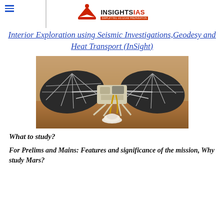INSIGHTSIAS – SIMPLIFYING IAS EXAM PREPARATION
Interior Exploration using Seismic Investigations,Geodesy and Heat Transport (InSight)
[Figure (photo): Photo of the InSight Mars lander model with two large circular solar panels deployed on either side, sitting on a sandy/rocky Martian surface]
What to study?
For Prelims and Mains: Features and significance of the mission, Why study Mars?